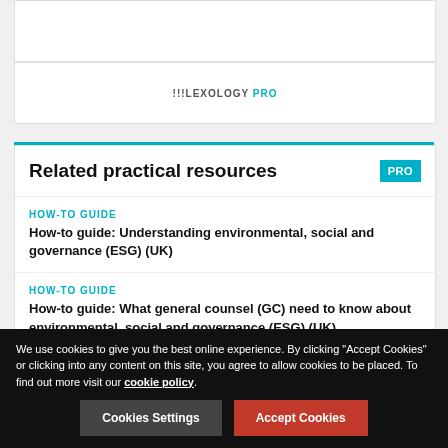[Figure (logo): Lexology PRO logo in a white box]
Related practical resources
HOW-TO GUIDE
How-to guide: Understanding environmental, social and governance (ESG) (UK)
HOW-TO GUIDE
How-to guide: What general counsel (GC) need to know about environmental, social and governance (ESG) (UK)
We use cookies to give you the best online experience. By clicking "Accept Cookies" or clicking into any content on this site, you agree to allow cookies to be placed. To find out more visit our cookie policy.
Cookies Settings
Accept Cookies